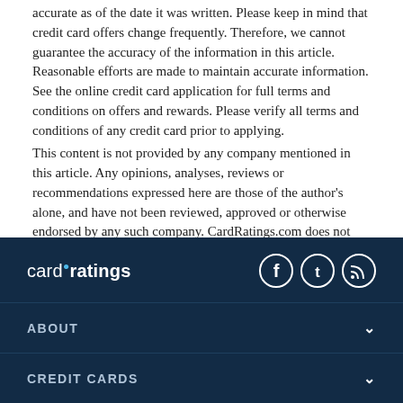accurate as of the date it was written. Please keep in mind that credit card offers change frequently. Therefore, we cannot guarantee the accuracy of the information in this article. Reasonable efforts are made to maintain accurate information. See the online credit card application for full terms and conditions on offers and rewards. Please verify all terms and conditions of any credit card prior to applying.
This content is not provided by any company mentioned in this article. Any opinions, analyses, reviews or recommendations expressed here are those of the author's alone, and have not been reviewed, approved or otherwise endorsed by any such company. CardRatings.com does not review every company or every offer available on the market.
cardratings ABOUT CREDIT CARDS